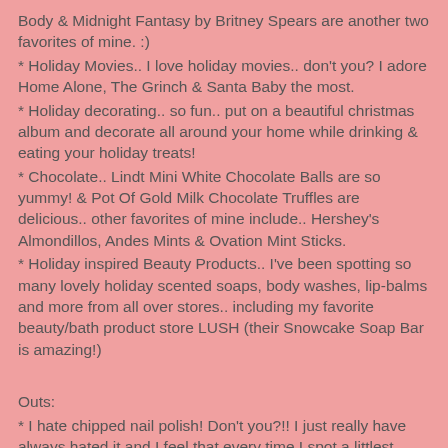Body & Midnight Fantasy by Britney Spears are another two favorites of mine. :)
* Holiday Movies.. I love holiday movies.. don't you? I adore Home Alone, The Grinch & Santa Baby the most.
* Holiday decorating.. so fun.. put on a beautiful christmas album and decorate all around your home while drinking & eating your holiday treats!
* Chocolate.. Lindt Mini White Chocolate Balls are so yummy! & Pot Of Gold Milk Chocolate Truffles are delicious.. other favorites of mine include.. Hershey's Almondillos, Andes Mints & Ovation Mint Sticks.
* Holiday inspired Beauty Products.. I've been spotting so many lovely holiday scented soaps, body washes, lip-balms and more from all over stores.. including my favorite beauty/bath product store LUSH (their Snowcake Soap Bar is amazing!)
Outs:
* I hate chipped nail polish! Don't you?!! I just really have always hated it and I feel that every time I spot a littlest chip, I have to run and get my nail polish and fix it ASAP! But the pretty-ness of the perfection once it's finished is the most beautiful thing...